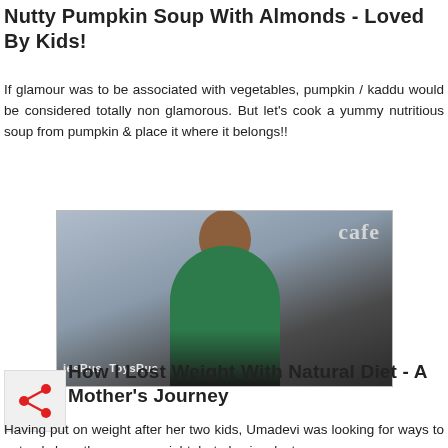Nutty Pumpkin Soup With Almonds - Loved By Kids!
If glamour was to be associated with vegetables, pumpkin / kaddu would be considered totally non glamorous. But let's cook a yummy nutritious soup from pumpkin & place it where it belongs!!
[Figure (photo): A smiling woman in a green top standing in a shopping mall area with Toys R Us signage in background and a cafe sign visible]
How I Lost Weight With Natural Diet - A Mother's Journey
Having put on weight after her two kids, Umadevi was looking for ways to not only lose the excess weight, but also inculcate